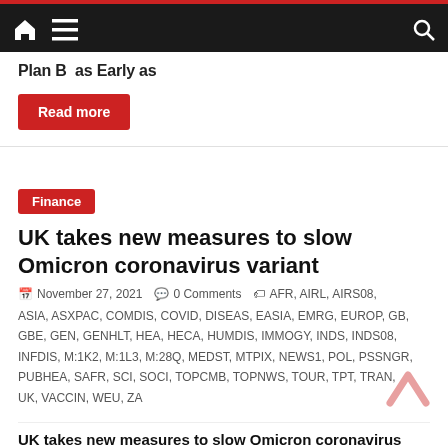Navigation bar with home, menu, search icons
Plan B  as Early as
Read more
Finance
UK takes new measures to slow Omicron coronavirus variant
November 27, 2021   0 Comments   AFR, AIRL, AIRS08, ASIA, ASXPAC, COMDIS, COVID, DISEAS, EASIA, EMRG, EUROP, GB, GBE, GEN, GENHLT, HEA, HECA, HUMDIS, IMMOGY, INDS, INDS08, INFDIS, M:1K2, M:1L3, M:28Q, MEDST, MTPIX, NEWS1, POL, PSSNGR, PUBHEA, SAFR, SCI, SOCI, TOPCMB, TOPNWS, TOUR, TPT, TRAN, UK, VACCIN, WEU, ZA
UK takes new measures to slow Omicron coronavirus